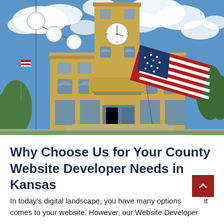[Figure (photo): Photograph of a Kansas county courthouse with a clock tower and red brick facade, an American flag displayed prominently in the foreground, and a decorative street lamp with globe lights on the left side. Blue sky with white clouds in background.]
Why Choose Us for Your County Website Developer Needs in Kansas
In today's digital landscape, you have many options when it comes to your website. However, our Website Developer